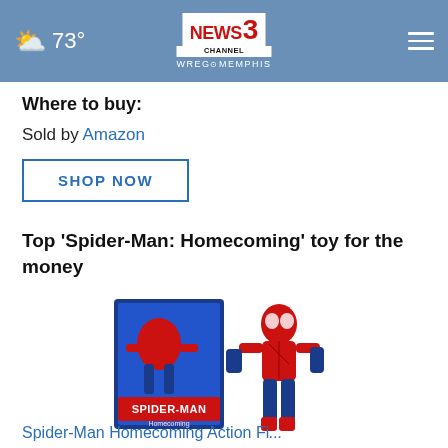73° NEWS CHANNEL 3 WREG MEMPHIS
Where to buy:
Sold by Amazon
SHOP NOW
Top 'Spider-Man: Homecoming' toy for the money
[Figure (photo): Spider-Man Homecoming action figure toy, shown with box packaging and a standalone figure in red and blue suit]
Spider-Man Homecoming Action Fi...